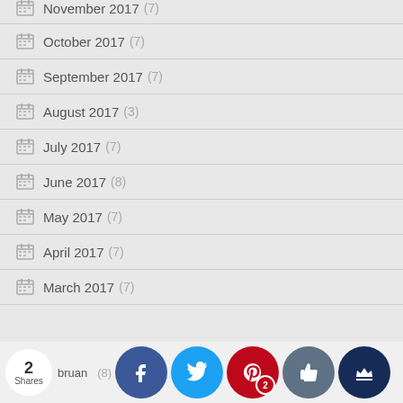November 2017 (7)
October 2017 (7)
September 2017 (7)
August 2017 (3)
July 2017 (7)
June 2017 (8)
May 2017 (7)
April 2017 (7)
March 2017 (7)